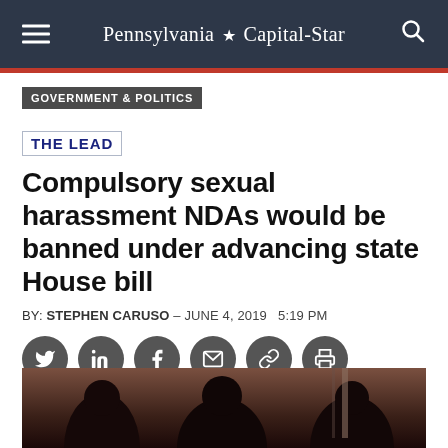Pennsylvania ★ Capital-Star
GOVERNMENT & POLITICS
THE LEAD
Compulsory sexual harassment NDAs would be banned under advancing state House bill
BY: STEPHEN CARUSO – JUNE 4, 2019   5:19 PM
[Figure (infographic): Social sharing icons row: Twitter, LinkedIn, Facebook, Email, Link, Print]
[Figure (photo): Photograph of people at what appears to be a government or official setting, partially visible at bottom of page]